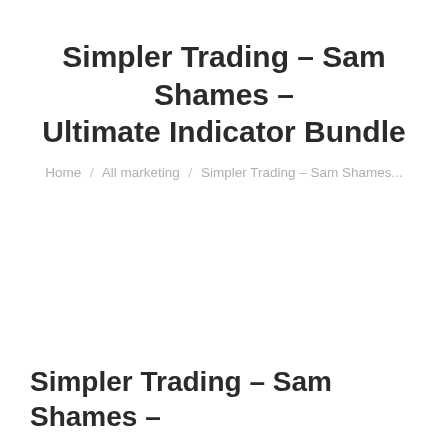Simpler Trading – Sam Shames – Ultimate Indicator Bundle
Home / All marketing / Simpler Trading – Sam Shames...
Simpler Trading – Sam Shames –